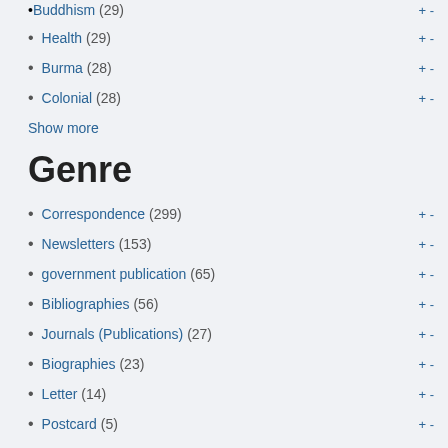Buddhism (29)
Health (29)
Burma (28)
Colonial (28)
Show more
Genre
Correspondence (299)
Newsletters (153)
government publication (65)
Bibliographies (56)
Journals (Publications) (27)
Biographies (23)
Letter (14)
Postcard (5)
Clipping (4)
- (3)
Essay (3)